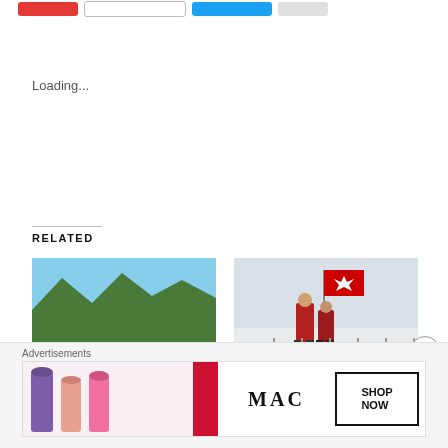[Figure (screenshot): Social share buttons bar at top: red button, outline button, blue button, gray button]
Loading...
RELATED
[Figure (photo): Thumbnail of mountainous green landscape under blue sky with text overlay: EXPLORE WHISTLER Alpine Hiking]
[VIDEO] Explore British Columbia – Whistler:
[Figure (photo): Thumbnail of two people in red jackets by a fence in a snowy landscape with a Canadian flag]
Explore British Columbia – Whistler Getaway
[Figure (screenshot): Close button (X circle) in bottom right corner]
Advertisements
[Figure (photo): MAC Cosmetics advertisement banner showing lipsticks and SHOP NOW box]